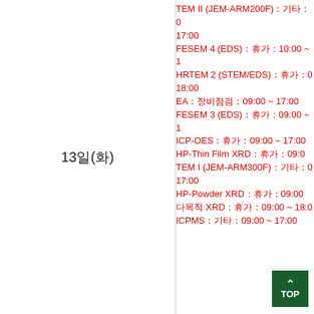13일(화)
TEM II (JEM-ARM200F)：기타：0... 17:00
FESEM 4 (EDS)：휴가：10:00 ~ 1
HRTEM 2 (STEM/EDS)：휴가：0... 18:00
EA：장비점검：09:00 ~ 17:00
FESEM 3 (EDS)：휴가：09:00 ~ 1
ICP-OES：휴가：09:00 ~ 17:00
HP-Thin Film XRD：휴가：09:0
TEM I (JEM-ARM300F)：기타：0... 17:00
HP-Powder XRD：휴가：09:00
다목적 XRD：휴가：09:00 ~ 18:0
ICPMS：기타：09:00 ~ 17:00